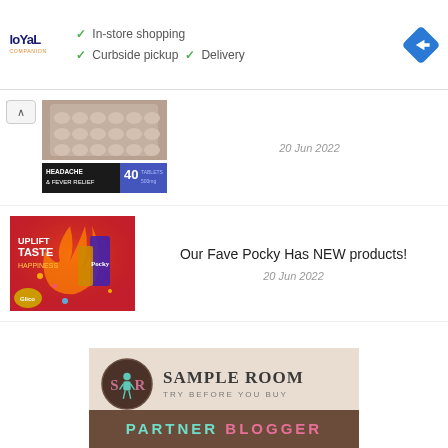[Figure (infographic): Ad banner: Loyal Companion logo on left, checkmarks for In-store shopping, Curbside pickup, Delivery, and a blue diamond direction arrow on right]
[Figure (photo): Thumbnail of headache and fever relief tablets blister packs (40 tablets 500mg)]
20 Jun 2022
[Figure (photo): Thumbnail of Pocky Uplift Taste Happiness promotional image with colorful packaging]
Our Fave Pocky Has NEW products!
20 Jun 2022
[Figure (logo): Sample Room - Try Before You Buy. Partner Blogger banner with teal and pink text on brown background]